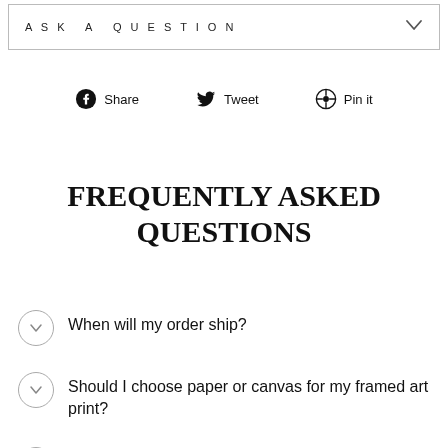ASK A QUESTION
Share  Tweet  Pin it
FREQUENTLY ASKED QUESTIONS
When will my order ship?
Should I choose paper or canvas for my framed art print?
What is flat canvas?